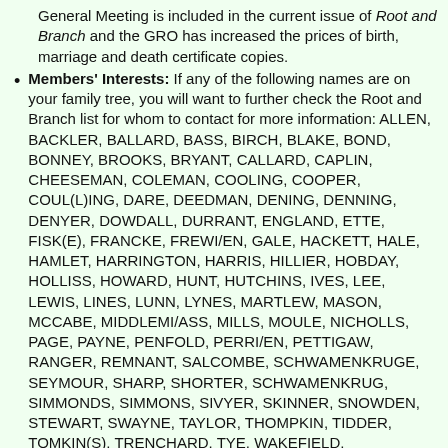General Meeting is included in the current issue of Root and Branch and the GRO has increased the prices of birth, marriage and death certificate copies.
Members' Interests: If any of the following names are on your family tree, you will want to further check the Root and Branch list for whom to contact for more information: ALLEN, BACKLER, BALLARD, BASS, BIRCH, BLAKE, BOND, BONNEY, BROOKS, BRYANT, CALLARD, CAPLIN, CHEESEMAN, COLEMAN, COOLING, COOPER, COUL(L)ING, DARE, DEEDMAN, DENING, DENNING, DENYER, DOWDALL, DURRANT, ENGLAND, ETTE, FISK(E), FRANCKE, FREWI/EN, GALE, HACKETT, HALE, HAMLET, HARRINGTON, HARRIS, HILLIER, HOBDAY, HOLLISS, HOWARD, HUNT, HUTCHINS, IVES, LEE, LEWIS, LINES, LUNN, LYNES, MARTLEW, MASON, MCCABE, MIDDLEMI/ASS, MILLS, MOULE, NICHOLLS, PAGE, PAYNE, PENFOLD, PERRI/EN, PETTIGAW, RANGER, REMNANT, SALCOMBE, SCHWAMENKRUGE, SEYMOUR, SHARP, SHORTER, SCHWAMENKRUG, SIMMONDS, SIMMONS, SIVYER, SKINNER, SNOWDEN, STEWART, SWAYNE, TAYLOR, THOMPKIN, TIDDER, TOMKIN(S), TRENCHARD, TYE, WAKEFIELD, WAKEFORD, WALKER, WALLS, WARD, WARRINER, WATERMAN,